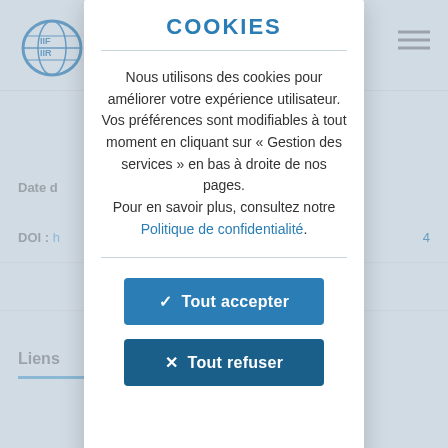[Figure (screenshot): Background webpage of IIF/IIR website showing logo top-left, hamburger menu top-right, and partial page content with 'Date d', 'DOI : h', and 'Liens' text visible, blurred behind modal overlay.]
COOKIES
Nous utilisons des cookies pour améliorer votre expérience utilisateur. Vos préférences sont modifiables à tout moment en cliquant sur « Gestion des services » en bas à droite de nos pages. Pour en savoir plus, consultez notre Politique de confidentialité.
✓  Tout accepter
✕  Tout refuser